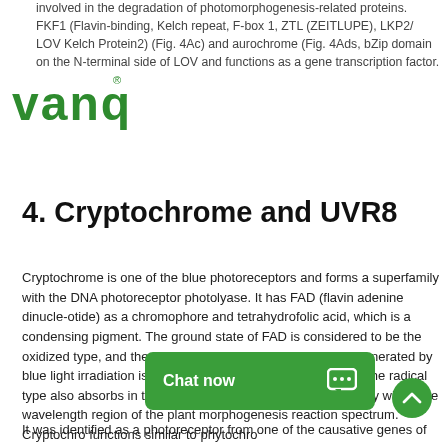involved in the degradation of photomorphogenesis-related proteins. FKF1 (Flavin-binding, Kelch repeat, F-box 1, ZTL (ZEITLUPE), LKP2/ LOV Kelch Protein2) (Fig. 4Ac) and aurochrome (Fig. 4Ads, bZip domain on the N-terminal side of LOV and functions as a gene transcription factor.
[Figure (logo): VanQ logo in green with registered trademark symbol]
4. Cryptochrome and UVR8
Cryptochrome is one of the blue photoreceptors and forms a superfamily with the DNA photoreceptor photolyase. It has FAD (flavin adenine dinucle-otide) as a chromophore and tetrahydrofolic acid, which is a condensing pigment. The ground state of FAD is considered to be the oxidized type, and the radical type (broken line in Fig. 1B) generated by blue light irradiation is considered to be the signaling state. The radical type also absorbs in the green to orange light region, and may widen the wavelength region of the plant morphogenesis reaction spectrum. Cryptochrome functions similar to phytochrome.
It was identified as a photoreceptor from one of the causative genes of